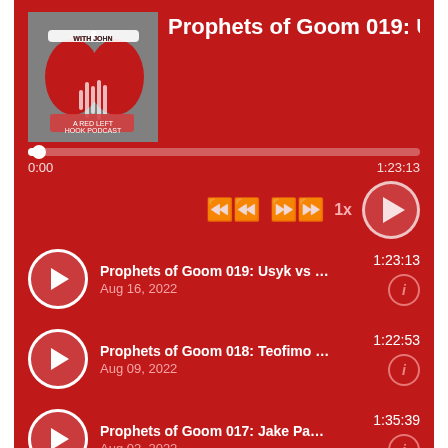[Figure (screenshot): Podcast player UI with red background showing 'Prophets of Goom 019: Usy' now playing with album art thumbnail, progress bar at 0:00 of 1:23:13, playback controls, and episode list]
Prophets of Goom 019: Usyk vs Jo... | Aug 16, 2022 | 1:23:13
Prophets of Goom 018: Teofimo L... | Aug 09, 2022 | 1:22:53
Prophets of Goom 017: Jake Paul ... | Aug 02, 2022 | 1:35:39
AD